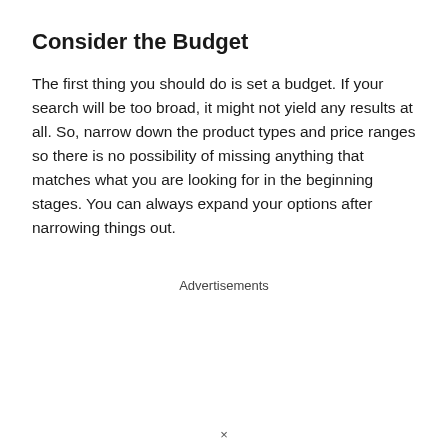Consider the Budget
The first thing you should do is set a budget. If your search will be too broad, it might not yield any results at all. So, narrow down the product types and price ranges so there is no possibility of missing anything that matches what you are looking for in the beginning stages. You can always expand your options after narrowing things out.
Advertisements
×